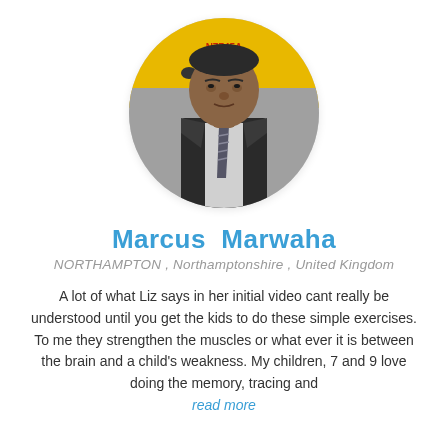[Figure (photo): Circular profile photo of Marcus Marwaha, a man in a dark suit and striped tie, standing in front of a yellow aircraft with registration N7745A]
Marcus Marwaha
NORTHAMPTON , Northamptonshire , United Kingdom
A lot of what Liz says in her initial video cant really be understood until you get the kids to do these simple exercises. To me they strengthen the muscles or what ever it is between the brain and a child's weakness. My children, 7 and 9 love doing the memory, tracing and read more